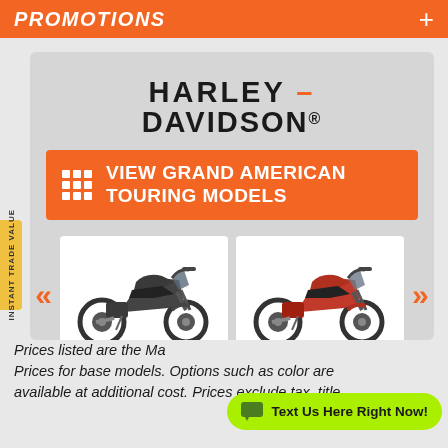PROMOTIONS +
[Figure (logo): Harley-Davidson logo text in bold black font with orange dash]
VIEW GRAND AMERICAN TOURING MODELS
[Figure (photo): Two Harley-Davidson motorcycles side by side - one dark grey/black and one red, Grand American Touring models, with navigation arrows on each side]
Prices listed are the Ma... Prices for base models. Options such as color are available at additional cost. Prices exclude tax, title,
Text Us Here Right Now!